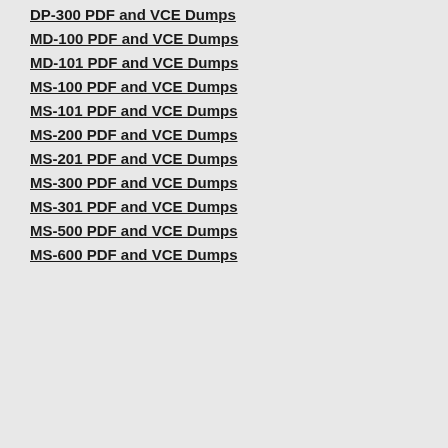DP-300 PDF and VCE Dumps
MD-100 PDF and VCE Dumps
MD-101 PDF and VCE Dumps
MS-100 PDF and VCE Dumps
MS-101 PDF and VCE Dumps
MS-200 PDF and VCE Dumps
MS-201 PDF and VCE Dumps
MS-300 PDF and VCE Dumps
MS-301 PDF and VCE Dumps
MS-500 PDF and VCE Dumps
MS-600 PDF and VCE Dumps